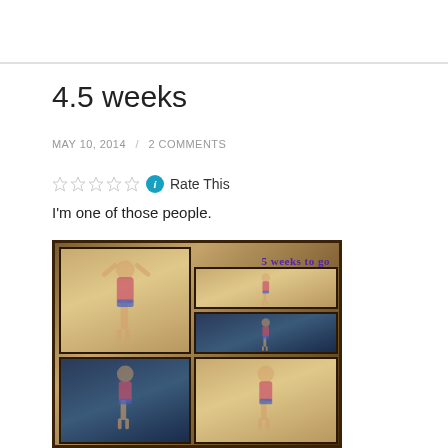4.5 weeks
MAY 10, 2014 / 2 COMMENTS
Rate This
I'm one of those people.
[Figure (photo): Collage of photos showing a person in a bikini posing, arranged in a dark brown frame layout with handwritten text '5 weeks to go' in purple]